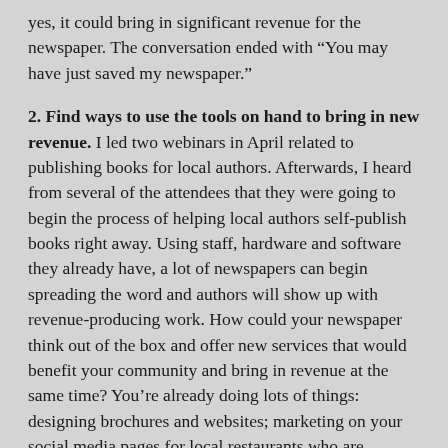yes, it could bring in significant revenue for the newspaper. The conversation ended with “You may have just saved my newspaper.”
2. Find ways to use the tools on hand to bring in new revenue. I led two webinars in April related to publishing books for local authors. Afterwards, I heard from several of the attendees that they were going to begin the process of helping local authors self-publish books right away. Using staff, hardware and software they already have, a lot of newspapers can begin spreading the word and authors will show up with revenue-producing work. How could your newspaper think out of the box and offer new services that would benefit your community and bring in revenue at the same time? You’re already doing lots of things: designing brochures and websites; marketing on your social media pages for local restaurants who are delivering and offering carry-out; and creating signs to congratulate the Class of 2020. What else could you be doing with the tools you already have to bring in additional revenue?
3. Look for tools available, many at no cost, to help your advertisers and bring in revenue so they can stay in business and prosper. A few nights ago, I spent an hour on a video conference with Katherine Haine of City Media. Her assistant Katherine was the company’s representative at